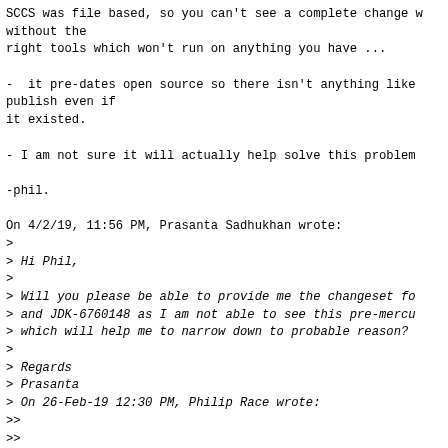SCCS was file based, so you can't see a complete change without the
right tools which won't run on anything you have ...
-  it pre-dates open source so there isn't anything like publish even if
it existed.
- I am not sure it will actually help solve this problem
-phil.
On 4/2/19, 11:56 PM, Prasanta Sadhukhan wrote:
>
> Hi Phil,
>
> Will you please be able to provide me the changeset for
> and JDK-6760148 as I am not able to see this pre-mercu
> which will help me to narrow down to probable reason?
>
> Regards
> Prasanta
> On 26-Feb-19 12:30 PM, Philip Race wrote:
>>
>>
>> On 2/25/19, 10:21 PM, Prasanta Sadhukhan wrote:
>>>
>>> Thanks Phil for review. So, you are doubting it will
>>> printing tests. As you told earlier, I have ran the r
>>> regression test with this fix